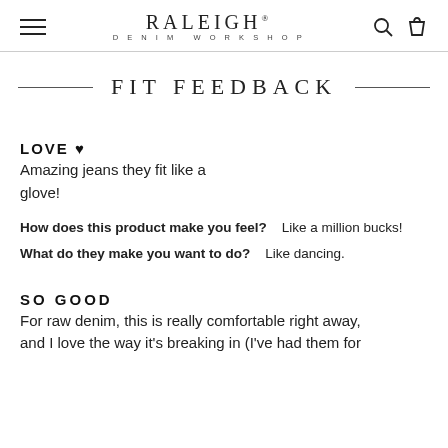RALEIGH DENIM WORKSHOP
FIT FEEDBACK
LOVE ♥
Amazing jeans they fit like a glove!
How does this product make you feel?    Like a million bucks!
What do they make you want to do?    Like dancing.
SO GOOD
For raw denim, this is really comfortable right away, and I love the way it's breaking in (I've had them for